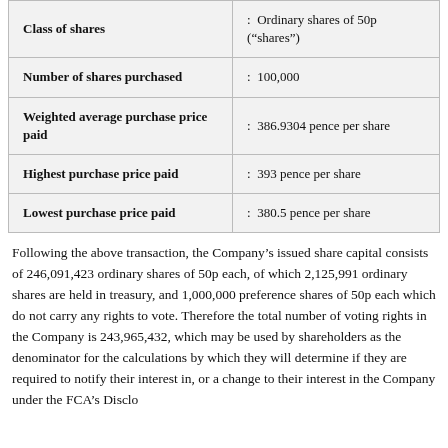| Class of shares | Ordinary shares of 50p ("shares") |
| --- | --- |
| Number of shares purchased | : 100,000 |
| Weighted average purchase price paid | : 386.9304 pence per share |
| Highest purchase price paid | : 393 pence per share |
| Lowest purchase price paid | : 380.5 pence per share |
Following the above transaction, the Company's issued share capital consists of 246,091,423 ordinary shares of 50p each, of which 2,125,991 ordinary shares are held in treasury, and 1,000,000 preference shares of 50p each which do not carry any rights to vote. Therefore the total number of voting rights in the Company is 243,965,432, which may be used by shareholders as the denominator for the calculations by which they will determine if they are required to notify their interest in, or a change to their interest in the Company under the FCA's Disclosure